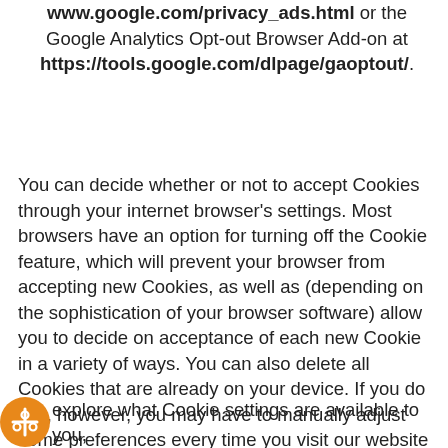www.google.com/privacy_ads.html or the Google Analytics Opt-out Browser Add-on at https://tools.google.com/dlpage/gaoptout/.
You can decide whether or not to accept Cookies through your internet browser's settings. Most browsers have an option for turning off the Cookie feature, which will prevent your browser from accepting new Cookies, as well as (depending on the sophistication of your browser software) allow you to decide on acceptance of each new Cookie in a variety of ways. You can also delete all Cookies that are already on your device. If you do this, however, you may have to manually adjust some preferences every time you visit our website and some of the Site and functionalities may not work.
To explore what Cookie settings are available to you,